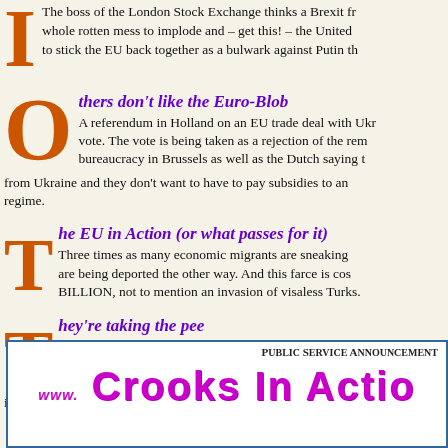The boss of the London Stock Exchange thinks a Brexit from whole rotten mess to implode and – get this! – the United to stick the EU back together as a bulwark against Putin th
thers don't like the Euro-Blob
A referendum in Holland on an EU trade deal with Ukr vote. The vote is being taken as a rejection of the rem bureaucracy in Brussels as well as the Dutch saying t from Ukraine and they don't want to have to pay subsidies to an regime.
he EU in Action (or what passes for it)
Three times as many economic migrants are sneaking are being deported the other way. And this farce is cos BILLION, not to mention an invasion of visaless Turks.
hey're taking the pee
Edinburgh city council closed all the public toilets in the blaming "The Cuts". And then they managed to find 70 Memorial. Gestures are clearly more important than the inhabitants and visitors to Scotland's capital.
Public Service Announcement
www. Crooks In Actio